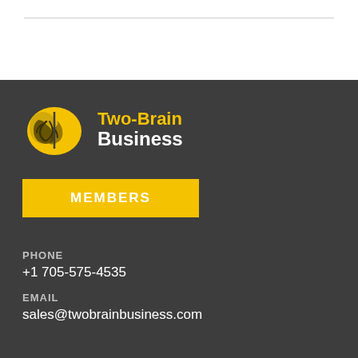[Figure (logo): Two-Brain Business logo with yellow brain icon and yellow/white text]
MEMBERS
PHONE
+1 705-575-4535
EMAIL
sales@twobrainbusiness.com